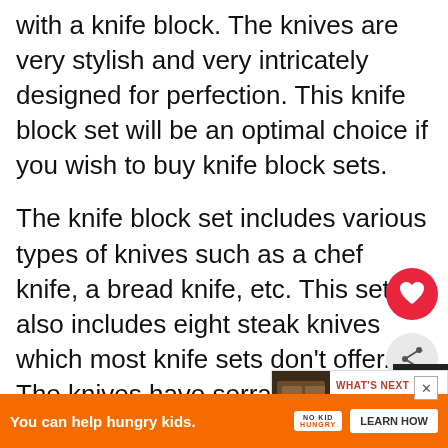with a knife block. The knives are very stylish and very intricately designed for perfection. This knife block set will be an optimal choice if you wish to buy knife block sets.
The knife block set includes various types of knives such as a chef knife, a bread knife, etc. This set also includes eight steak knives which most knife sets don't offer. The knives have serrated blades, so the cuts are to perfection and made with ease.
This set includes fusion knives known after lot of testing, to stay sharper for lon any other regular knife. The knives are made of hig
[Figure (screenshot): What's Next promotional box with thumbnail image and text '5 Best Cheese Knife Sets...']
You can help hungry kids. NO KID HUNGRY LEARN HOW